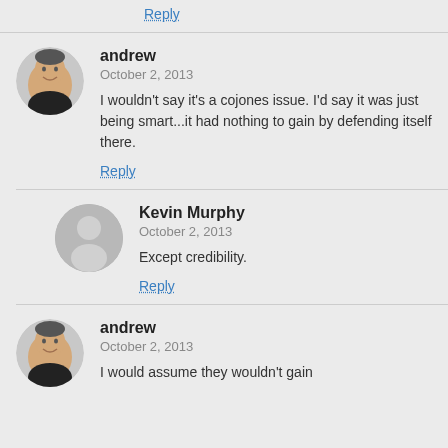Reply
andrew
October 2, 2013
I wouldn't say it's a cojones issue. I'd say it was just being smart...it had nothing to gain by defending itself there.
Reply
Kevin Murphy
October 2, 2013
Except credibility.
Reply
andrew
October 2, 2013
I would assume they wouldn't gain